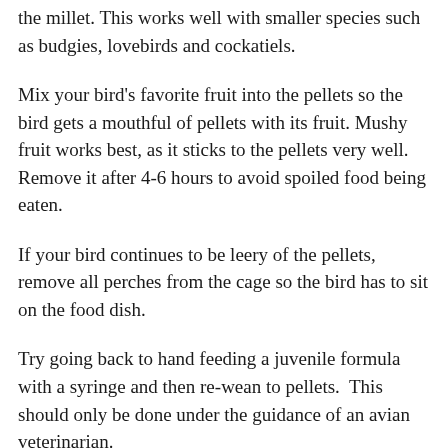the millet. This works well with smaller species such as budgies, lovebirds and cockatiels.
Mix your bird's favorite fruit into the pellets so the bird gets a mouthful of pellets with its fruit. Mushy fruit works best, as it sticks to the pellets very well. Remove it after 4-6 hours to avoid spoiled food being eaten.
If your bird continues to be leery of the pellets, remove all perches from the cage so the bird has to sit on the food dish.
Try going back to hand feeding a juvenile formula with a syringe and then re-wean to pellets.  This should only be done under the guidance of an avian veterinarian.
If you have a bird on pellets put your two